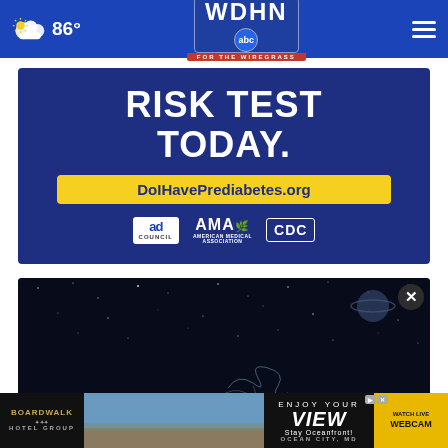[Figure (screenshot): WDHN ABC For The Wiregrass TV station navigation bar with weather showing 86 degrees, station logo, and hamburger menu]
[Figure (infographic): Prediabetes risk test advertisement on dark blue background with text RISK TEST TODAY and DoIHavePrediabetes.org URL, Ad Council, AMA, and CDC logos]
[Figure (photo): Dark space/astronomy image with stars and planet visible, with a close button overlay]
[Figure (infographic): Boardwalk Hotel Group advertisement: ENJOY YOUR VIEW Stay Oceanfront! OCEAN CITY, MD with WATCH LIVE WEBCAM button]